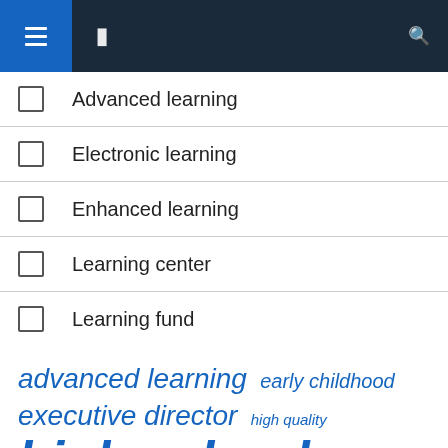Navigation bar with hamburger menu and search icon
Advanced learning
Electronic learning
Enhanced learning
Learning center
Learning fund
advanced learning  early childhood  executive director  high quality  high school  learning centers  related links  school district  school students  school year  square foot  state university